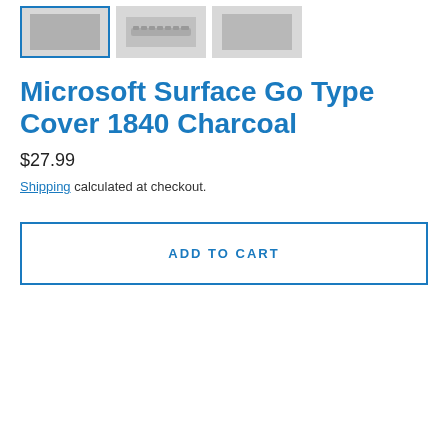[Figure (photo): Three thumbnail images of the Microsoft Surface Go Type Cover 1840 Charcoal product, shown from different angles. The first thumbnail has a blue border indicating it is selected.]
Microsoft Surface Go Type Cover 1840 Charcoal
$27.99
Shipping calculated at checkout.
ADD TO CART